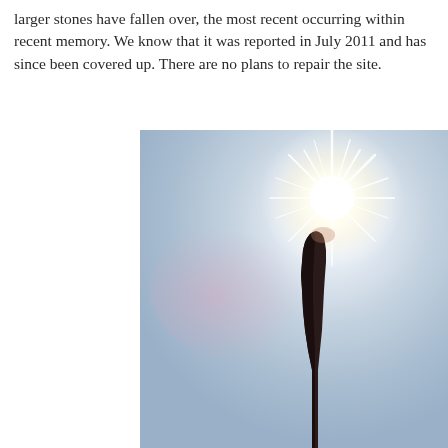larger stones have fallen over, the most recent occurring within recent memory. We know that it was reported in July 2011 and has since been covered up. There are no plans to repair the site.
[Figure (photo): A tall standing stone silhouetted against a bright blue sky, with the sun shining directly behind the top of the stone creating a starburst lens flare effect.]